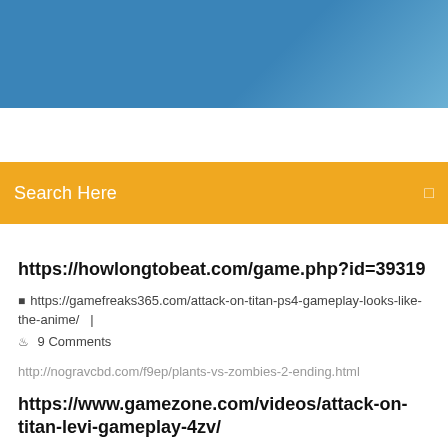[Figure (screenshot): Blue gradient header banner at top of webpage]
Search Here
https://howlongtobeat.com/game.php?id=39319
https://gamefreaks365.com/attack-on-titan-ps4-gameplay-looks-like-the-anime/  |  9 Comments
http://nogravcbd.com/f9ep/plants-vs-zombies-2-ending.html
https://www.gamezone.com/videos/attack-on-titan-levi-gameplay-4zv/